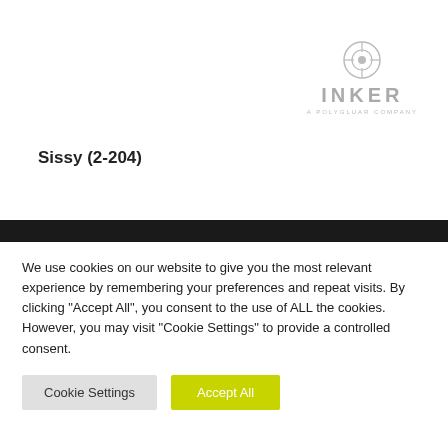[Figure (logo): INKER logo with circular geometric icon above the text 'INKER' and small tagline 'A POLYGLUAR COMPANY']
Sissy (2-204)
We use cookies on our website to give you the most relevant experience by remembering your preferences and repeat visits. By clicking "Accept All", you consent to the use of ALL the cookies. However, you may visit "Cookie Settings" to provide a controlled consent.
Cookie Settings | Accept All